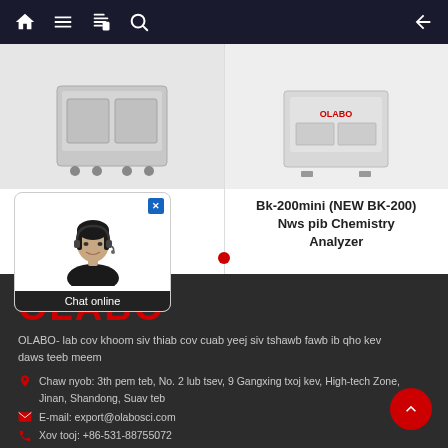Navigation bar with home, menu, notebook, search icons and back arrow
[Figure (photo): Product card showing a laboratory chemistry analyzer machine (left card, BK-600) with gray cabinet on wheels]
T / H Nws Pib istry Analyzer BK-600
[Figure (photo): Product card showing Bk-200mini laboratory chemistry analyzer machine (right card)]
Bk-200mini (NEW BK-200) Nws pib Chemistry Analyzer
[Figure (illustration): Chat online widget showing a female avatar with headset and 'Chat online' label]
[Figure (logo): OLABO company logo in red bold letters]
OLABO- lab cov khoom siv thiab cov cuab yeej siv tshawb fawb ib qho kev daws teeb meem
Chaw nyob: 3th pem teb, No. 2 lub tsev, 9 Gangxing txoj kev, High-tech Zone, Jinan, Shandong, Suav teb
E-mail: export@olabosci.com
Xov tooj: +86-531-88755072